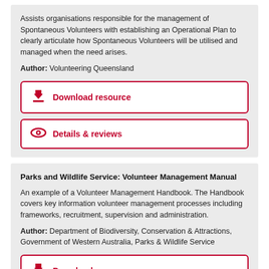Assists organisations responsible for the management of Spontaneous Volunteers with establishing an Operational Plan to clearly articulate how Spontaneous Volunteers will be utilised and managed when the need arises.
Author: Volunteering Queensland
Download resource
Details & reviews
Parks and Wildlife Service: Volunteer Management Manual
An example of a Volunteer Management Handbook. The Handbook covers key information volunteer management processes including frameworks, recruitment, supervision and administration.
Author: Department of Biodiversity, Conservation & Attractions, Government of Western Australia, Parks & Wildlife Service
Download resource
Details & reviews